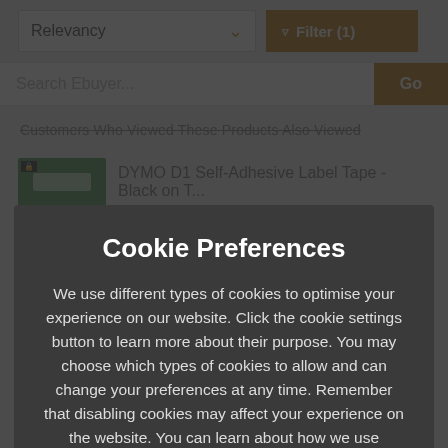Relevancy ∨  Filter (1)
Search Ebuyer...  Go
Customers Who Viewed These Products Also Viewed
DYMO D1 Self-Adhesive Label Tape - Black on T...
Cookie Preferences
We use different types of cookies to optimise your experience on our website. Click the cookie settings button to learn more about their purpose. You may choose which types of cookies to allow and can change your preferences at any time. Remember that disabling cookies may affect your experience on the website. You can learn about how we use cookies by viewing our Cookie Policy.
Amend Your Preference
✓ Accept All Cookies